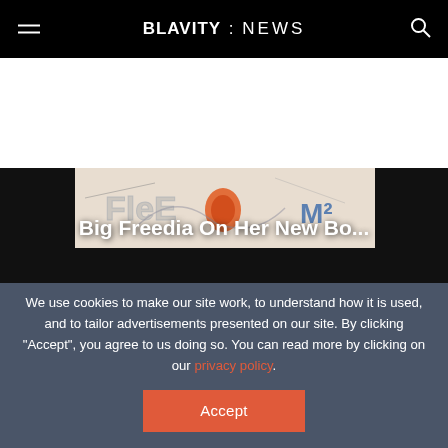BLAVITY : NEWS
[Figure (photo): Article thumbnail image showing graffiti wall with colorful text/tags]
Big Freedia On Her New Bo...
We use cookies to make our site work, to understand how it is used, and to tailor advertisements presented on our site. By clicking "Accept", you agree to us doing so. You can read more by clicking on our privacy policy.
Accept